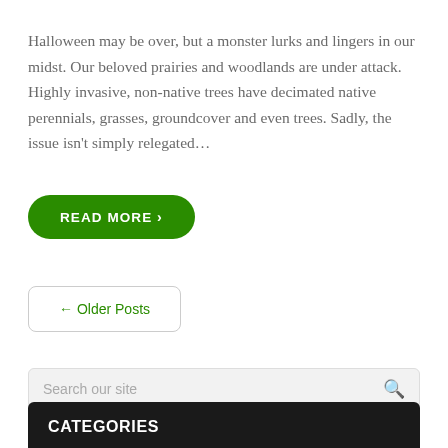Halloween may be over, but a monster lurks and lingers in our midst. Our beloved prairies and woodlands are under attack. Highly invasive, non-native trees have decimated native perennials, grasses, groundcover and even trees. Sadly, the issue isn't simply relegated…
READ MORE ›
← Older Posts
Search our site
CATEGORIES